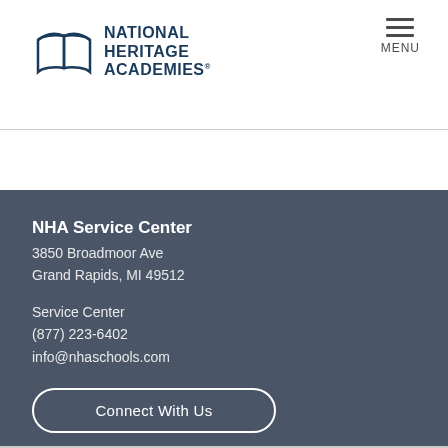[Figure (logo): National Heritage Academies logo with open book icon and bold text reading NATIONAL HERITAGE ACADEMIES]
MENU
NHA Service Center
3850 Broadmoor Ave
Grand Rapids, MI 49512

Service Center
(877) 223-6402
info@nhaschools.com
Connect With Us